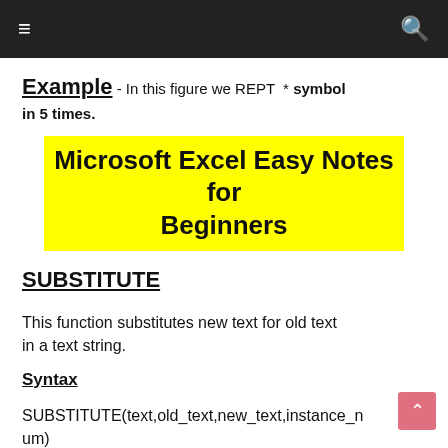≡  🔍
Example - In this figure we REPT  * symbol in 5 times.
Microsoft Excel Easy Notes for Beginners
SUBSTITUTE
This function substitutes new text for old text in a text string.
Syntax
SUBSTITUTE(text,old_text,new_text,instance_num)